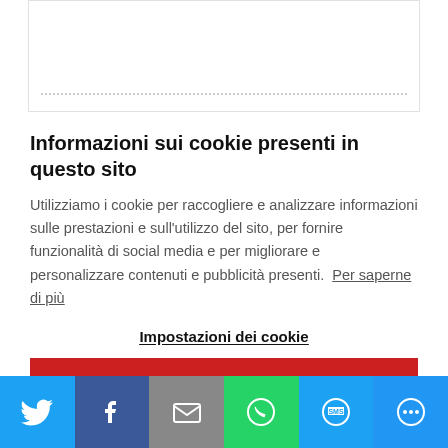[Figure (screenshot): Top portion of a web card with dotted separator line, partially visible]
Informazioni sui cookie presenti in questo sito
Utilizziamo i cookie per raccogliere e analizzare informazioni sulle prestazioni e sull'utilizzo del sito, per fornire funzionalità di social media e per migliorare e personalizzare contenuti e pubblicità presenti. Per saperne di più
Impostazioni dei cookie
NEGA TUTTO
[Figure (screenshot): Social sharing bar with Twitter, Facebook, Email, WhatsApp, SMS, and More buttons]